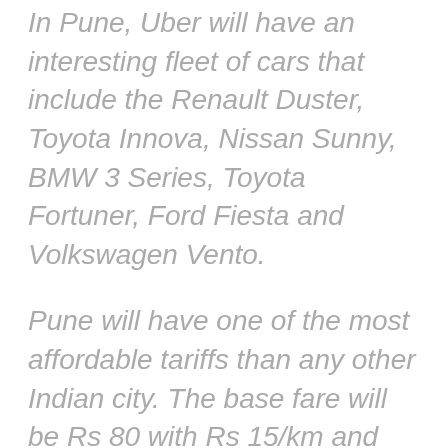In Pune, Uber will have an interesting fleet of cars that include the Renault Duster, Toyota Innova, Nissan Sunny, BMW 3 Series, Toyota Fortuner, Ford Fiesta and Volkswagen Vento.
Pune will have one of the most affordable tariffs than any other Indian city. The base fare will be Rs 80 with Rs 15/km and Rs 2/minute. The minimum fare and cancellation fee will be Rs 150